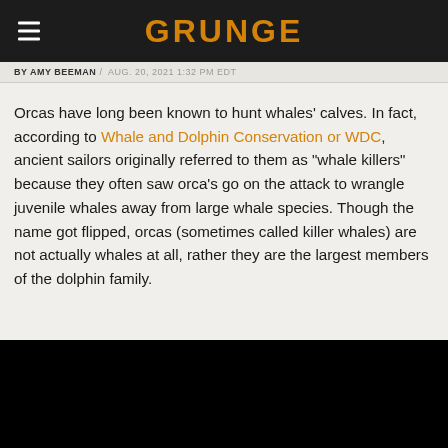GRUNGE
BY AMY BEEMAN / AUG. 20, 2021 1:32 PM EDT
Orcas have long been known to hunt whales' calves. In fact, according to Whale and Dolphin Conservation or WDC, ancient sailors originally referred to them as "whale killers" because they often saw orca's go on the attack to wrangle juvenile whales away from large whale species. Though the name got flipped, orcas (sometimes called killer whales) are not actually whales at all, rather they are the largest members of the dolphin family.
[Figure (photo): Black image placeholder at bottom of page]